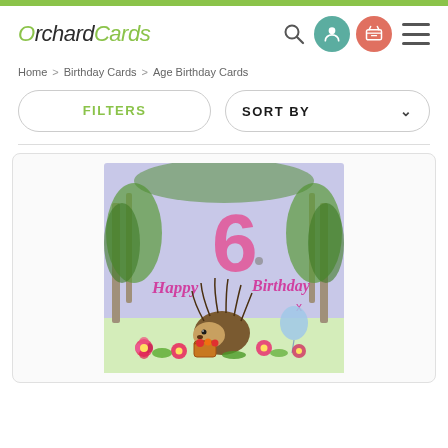OrchardCards
Home > Birthday Cards > Age Birthday Cards
FILTERS
SORT BY
[Figure (illustration): A birthday card showing a hedgehog holding a basket of fruit, surrounded by pink flowers and green foliage, with text 'Happy 6 Birthday' in pink lettering and a large pink number 6, against a purple/blue watercolour woodland background.]